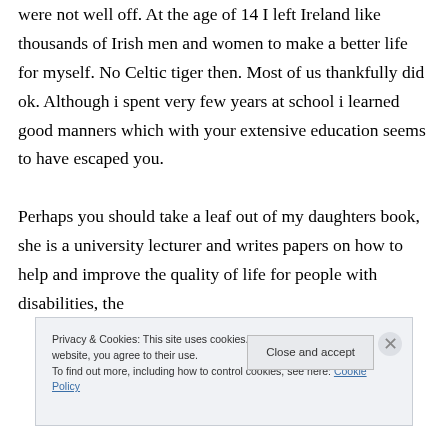were not well off. At the age of 14 I left Ireland like thousands of Irish men and women to make a better life for myself. No Celtic tiger then. Most of us thankfully did ok. Although i spent very few years at school i learned good manners which with your extensive education seems to have escaped you. Perhaps you should take a leaf out of my daughters book, she is a university lecturer and writes papers on how to help and improve the quality of life for people with disabilities, the
Privacy & Cookies: This site uses cookies. By continuing to use this website, you agree to their use.
To find out more, including how to control cookies, see here: Cookie Policy
Close and accept